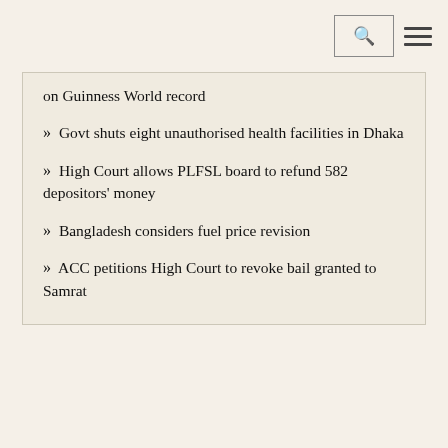Search and menu navigation bar
on Guinness World record
» Govt shuts eight unauthorised health facilities in Dhaka
» High Court allows PLFSL board to refund 582 depositors' money
» Bangladesh considers fuel price revision
» ACC petitions High Court to revoke bail granted to Samrat